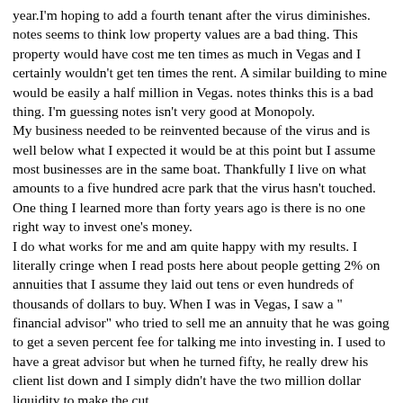year.I'm hoping to add a fourth tenant after the virus diminishes. notes seems to think low property values are a bad thing. This property would have cost me ten times as much in Vegas and I certainly wouldn't get ten times the rent. A similar building to mine would be easily a half million in Vegas. notes thinks this is a bad thing. I'm guessing notes isn't very good at Monopoly.
My business needed to be reinvented because of the virus and is well below what I expected it would be at this point but I assume most businesses are in the same boat. Thankfully I live on what amounts to a five hundred acre park that the virus hasn't touched. One thing I learned more than forty years ago is there is no one right way to invest one's money.
I do what works for me and am quite happy with my results. I literally cringe when I read posts here about people getting 2% on annuities that I assume they laid out tens or even hundreds of thousands of dollars to buy. When I was in Vegas, I saw a "financial advisor" who tried to sell me an annuity that he was going to get a seven percent fee for talking me into investing in. I used to have a great advisor but when he turned fifty, he really drew his client list down and I simply didn't have the two million dollar liquidity to make the cut.
I live the life I love and love the life I live. That it somehow annoys some internet troll just makes it all that much sweeter.
Proflight from within on the